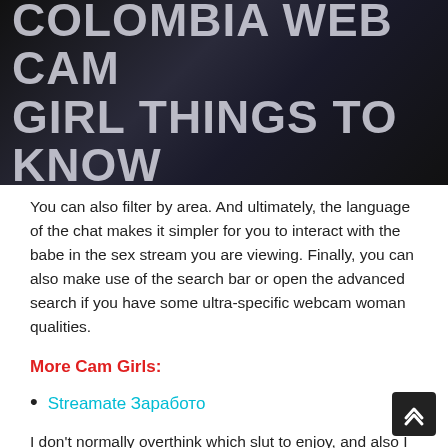[Figure (photo): Dark banner image with large white/grey bold text reading 'COLOMBIA WEB CAM GIRL THINGS TO KNOW' on a dark background with a faint person silhouette]
You can also filter by area. And ultimately, the language of the chat makes it simpler for you to interact with the babe in the sex stream you are viewing. Finally, you can also make use of the search bar or open the advanced search if you have some ultra-specific webcam woman qualities.
More Cam Girls:
Streamate Заработо
I don't normally overthink which slut to enjoy, and also I just click the one that looks funny enough. Bu...